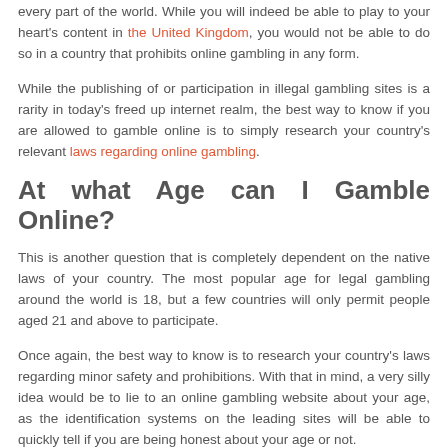every part of the world. While you will indeed be able to play to your heart's content in the United Kingdom, you would not be able to do so in a country that prohibits online gambling in any form.
While the publishing of or participation in illegal gambling sites is a rarity in today's freed up internet realm, the best way to know if you are allowed to gamble online is to simply research your country's relevant laws regarding online gambling.
At what Age can I Gamble Online?
This is another question that is completely dependent on the native laws of your country. The most popular age for legal gambling around the world is 18, but a few countries will only permit people aged 21 and above to participate.
Once again, the best way to know is to research your country's laws regarding minor safety and prohibitions. With that in mind, a very silly idea would be to lie to an online gambling website about your age, as the identification systems on the leading sites will be able to quickly tell if you are being honest about your age or not.